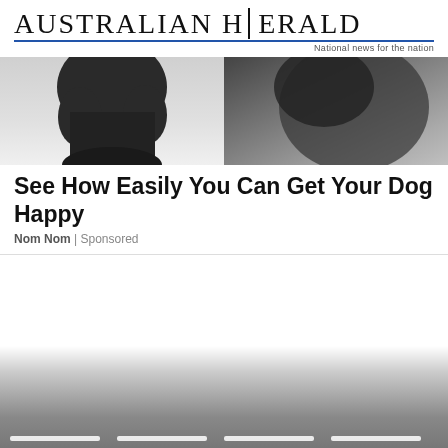Australian Herald — National news for the nation
[Figure (photo): Two side-by-side cropped photos of a dog, showing dark fur close-up on the left and a rounded shape on the right, both in greyscale.]
See How Easily You Can Get Your Dog Happy
Nom Nom | Sponsored
[Figure (photo): A greyscale image at bottom of page, partially visible, showing what appears to be a dog-related scene with thumbnail navigation bars at the bottom.]